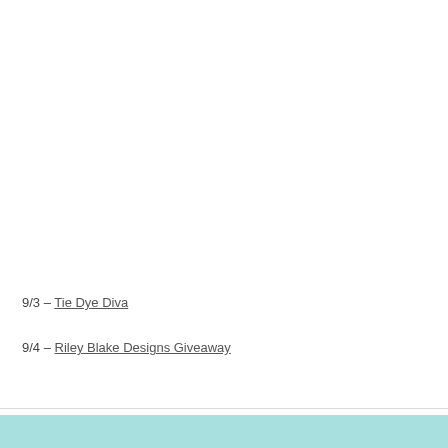9/3 – Tie Dye Diva
9/4 – Riley Blake Designs Giveaway
NEED ANOTHER REASON WHY...